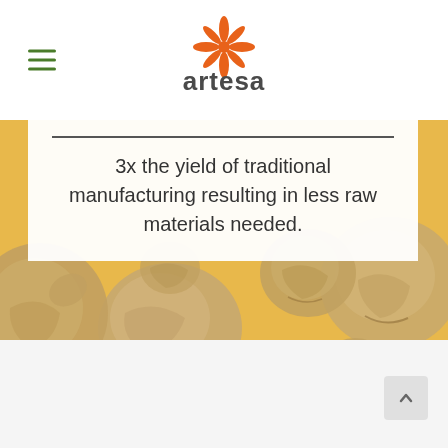artesa
3x the yield of traditional manufacturing resulting in less raw materials needed.
[Figure (photo): Close-up photo of chickpeas on a yellow/golden background, showing multiple tan/beige chickpeas with wrinkled texture scattered across the frame.]